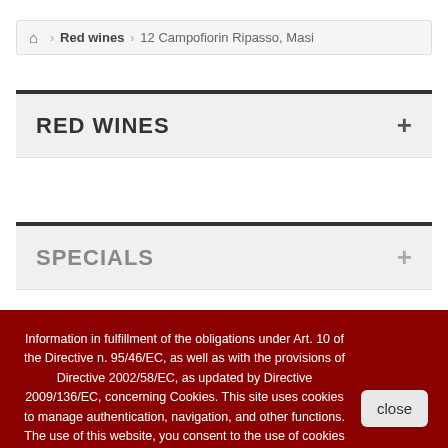Red wines > 12 Campofiorin Ripasso, Masi (breadcrumb navigation)
RED WINES
SPECIALS
Information in fulfillment of the obligations under Art. 10 of the Directive n. 95/46/EC, as well as with the provisions of Directive 2002/58/EC, as updated by Directive 2009/136/EC, concerning Cookies. This site uses cookies to manage authentication, navigation, and other functions. The use of this website, you consent to the use of cookies on your device.
display our information about privacy and cookie